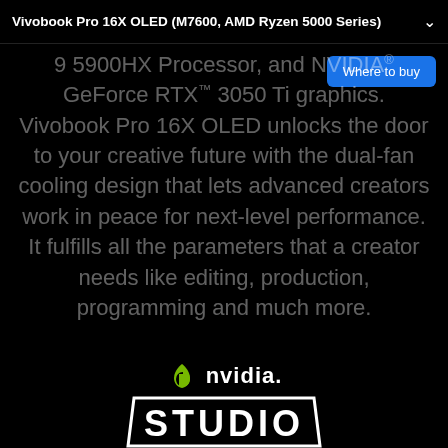Vivobook Pro 16X OLED (M7600, AMD Ryzen 5000 Series)
Where to buy
9 5900HX Processor, and NVIDIA® GeForce RTX™ 3050 Ti graphics. Vivobook Pro 16X OLED unlocks the door to your creative future with the dual-fan cooling design that lets advanced creators work in peace for next-level performance. It fulfills all the parameters that a creator needs like editing, production, programming and much more.
[Figure (logo): NVIDIA Studio logo with green NVIDIA eye icon, 'NVIDIA.' text and 'STUDIO' in large white bold text inside a trapezoid border]